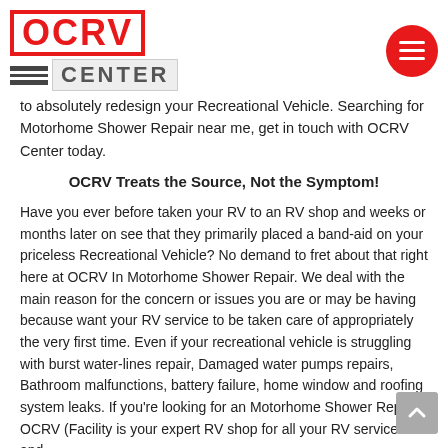OCRV CENTER logo and navigation
to absolutely redesign your Recreational Vehicle. Searching for Motorhome Shower Repair near me, get in touch with OCRV Center today.
OCRV Treats the Source, Not the Symptom!
Have you ever before taken your RV to an RV shop and weeks or months later on see that they primarily placed a band-aid on your priceless Recreational Vehicle? No demand to fret about that right here at OCRV In Motorhome Shower Repair. We deal with the main reason for the concern or issues you are or may be having because want your RV service to be taken care of appropriately the very first time. Even if your recreational vehicle is struggling with burst water-lines repair, Damaged water pumps repairs, Bathroom malfunctions, battery failure, home window and roofing system leaks. If you're looking for an Motorhome Shower Repair, OCRV (Facility is your expert RV shop for all your RV services and